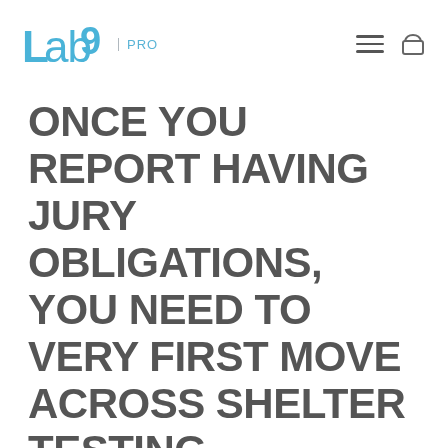Lab9 PRO
ONCE YOU REPORT HAVING JURY OBLIGATIONS, YOU NEED TO VERY FIRST MOVE ACROSS SHELTER TESTING
BAPTIST-ARKADAS ?ST BA?LANT? ALANLAR?
You will not be permitted to pass through for those who